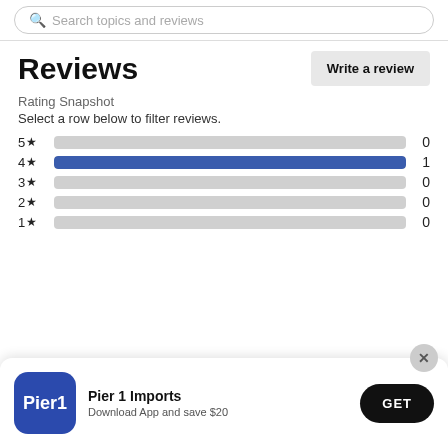Search topics and reviews
Reviews
Write a review
Rating Snapshot
Select a row below to filter reviews.
[Figure (bar-chart): Rating Snapshot]
[Figure (infographic): Pier 1 Imports app banner with logo, text 'Pier 1 Imports / Download App and save $20', and GET button]